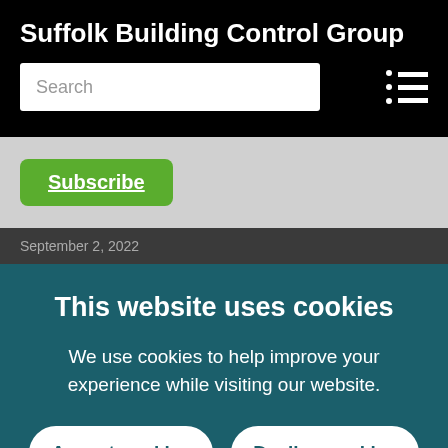Suffolk Building Control Group
[Figure (screenshot): Search input box with placeholder text 'Search' and a hamburger menu icon (list icon) on the right]
Subscribe
September 2, 2022
This website uses cookies
We use cookies to help improve your experience while visiting our website.
Accept cookies
Decline cookies